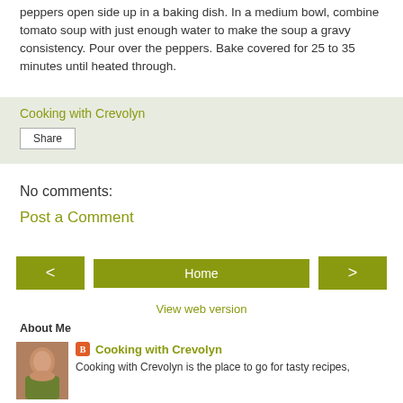peppers open side up in a baking dish. In a medium bowl, combine tomato soup with just enough water to make the soup a gravy consistency. Pour over the peppers. Bake covered for 25 to 35 minutes until heated through.
Cooking with Crevolyn
Share
No comments:
Post a Comment
Home
View web version
About Me
Cooking with Crevolyn
Cooking with Crevolyn is the place to go for tasty recipes,